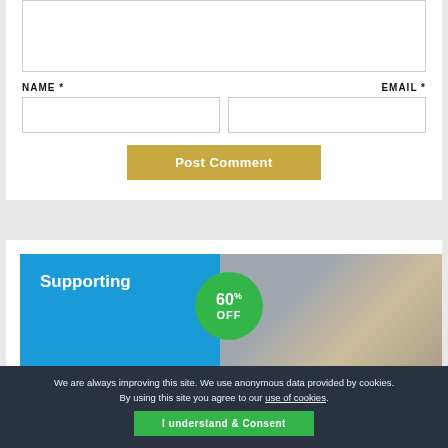[textarea]
NAME *
EMAIL *
[name input] [email input]
Post Comment
[Figure (infographic): Advertisement banner with blue background, '60% OFF' green circle badge, 'Supporting' text in white, and a photo of an outdoor structure on the right]
We are always improving this site. We use anonymous data provided by cookies. By using this site you agree to our use of cookies. I understand & Consent